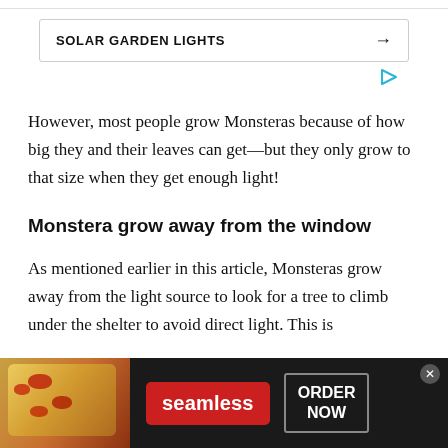[Figure (screenshot): Top partial border/bar from previous content]
[Figure (screenshot): Ad banner: SOLAR GARDEN LIGHTS with arrow button and play icon]
However, most people grow Monsteras because of how big they and their leaves can get—but they only grow to that size when they get enough light!
Monstera grow away from the window
As mentioned earlier in this article, Monsteras grow away from the light source to look for a tree to climb under the shelter to avoid direct light. This is
[Figure (screenshot): Seamless food delivery advertisement banner at the bottom with pizza image, seamless logo button, and ORDER NOW button]